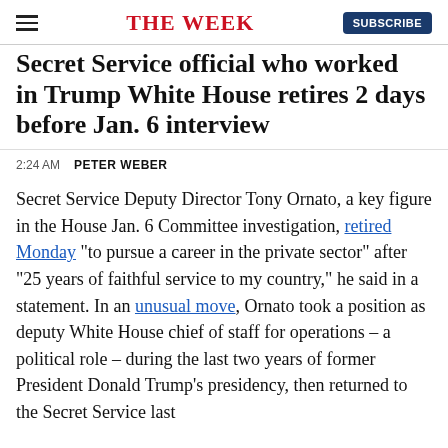THE WEEK
Secret Service official who worked in Trump White House retires 2 days before Jan. 6 interview
2:24 AM   PETER WEBER
Secret Service Deputy Director Tony Ornato, a key figure in the House Jan. 6 Committee investigation, retired Monday "to pursue a career in the private sector" after "25 years of faithful service to my country," he said in a statement. In an unusual move, Ornato took a position as deputy White House chief of staff for operations – a political role – during the last two years of former President Donald Trump's presidency, then returned to the Secret Service last